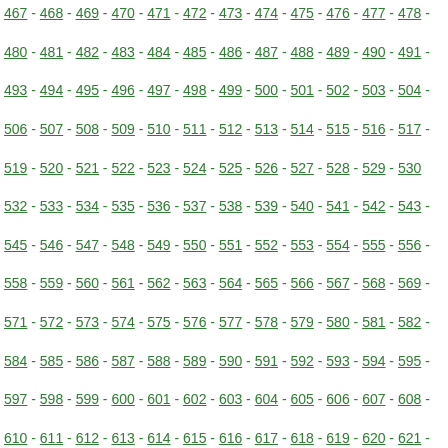467 - 468 - 469 - 470 - 471 - 472 - 473 - 474 - 475 - 476 - 477 - 478 - 480 - 481 - 482 - 483 - 484 - 485 - 486 - 487 - 488 - 489 - 490 - 491 - 493 - 494 - 495 - 496 - 497 - 498 - 499 - 500 - 501 - 502 - 503 - 504 - 506 - 507 - 508 - 509 - 510 - 511 - 512 - 513 - 514 - 515 - 516 - 517 - 519 - 520 - 521 - 522 - 523 - 524 - 525 - 526 - 527 - 528 - 529 - 530 - 532 - 533 - 534 - 535 - 536 - 537 - 538 - 539 - 540 - 541 - 542 - 543 - 545 - 546 - 547 - 548 - 549 - 550 - 551 - 552 - 553 - 554 - 555 - 556 - 558 - 559 - 560 - 561 - 562 - 563 - 564 - 565 - 566 - 567 - 568 - 569 - 571 - 572 - 573 - 574 - 575 - 576 - 577 - 578 - 579 - 580 - 581 - 582 - 584 - 585 - 586 - 587 - 588 - 589 - 590 - 591 - 592 - 593 - 594 - 595 - 597 - 598 - 599 - 600 - 601 - 602 - 603 - 604 - 605 - 606 - 607 - 608 - 610 - 611 - 612 - 613 - 614 - 615 - 616 - 617 - 618 - 619 - 620 - 621 - 623 - 624 - 625 - 626 - 627 - 628 - 629 - 630 - 631 - 632 - 633 - 634 - 636 - 637 - 638 - 639 - 640 - 641 - 642 - 643 - 644 - 645 - 646 - 647 - 649 - 650 - 651 - 652 - 653 - 654 - 655 - 656 - 657 - 658 - 659 - 660 - 662 - 663 - 664 - 665 - 666 - 667 - 668 - 669 - 670 - 671 - 672 - 673 - 675 - 676 - 677 - 678 - 679 - 680 - 681 - 682 - 683 - 684 - 685 - 686 - 688 - 689 - 690 - 691 - 692 - 693 - 694 - 695 - 696 - 697 - 698 - 699 - 701 - 702 - 703 - 704 - 705 - 706 - 707 - 708 - 709 - 710 - 711 - 712 - 714 - 715 - 716 - 717 - 718 - 719 - 720 - 721 - 722 - 723 - 724 - 725 - 727 - 728 - 729 - 730 - 731 - 732 - 733 - 734 - 735 - 736 - 737 - 738 - 740 - 741 - 742 - 743 - 744 - 745 - 746 - 747 - 748 - 749 - 750 - 751 - 753 - 754 - 755 - 756 - 757 - 758 - 759 - 760 - 761 - 762 - 763 - 764 - 766 - 767 - 768 - 769 - 770 - 771 - 772 - 773 - 774 - 775 - 776 - 777 - 779 - 780 - 781 - 782 - 783 - 784 - 785 - 786 - 787 - 788 - 789 - 790 - 792 - 793 - 794 - 795 - 796 - 797 - 798 - 799 - 800 - 801 - 802 - 803 - 805 - 806 - 807 - 808 - 809 - 810 - 811 - 812 - 813 - 814 - 815 - 816 - 818 - 819 - 820 - 821 - 822 - 823 - 824 - 825 - 826 - 827 - 828 - 829